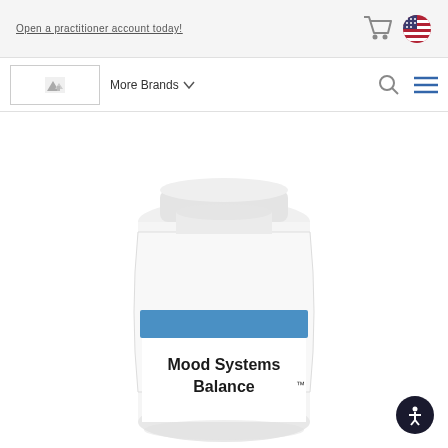Open a practitioner account today!
[Figure (screenshot): Website navigation header with shopping cart icon and US flag/country selector icon]
[Figure (logo): Broken/placeholder logo image in nav bar]
More Brands
[Figure (screenshot): Search (magnifier) icon and hamburger menu icon on right side of nav]
[Figure (photo): Supplement bottle labeled 'Mood Systems Balance' with white cap and blue label stripe, partially cropped at the bottom of the page]